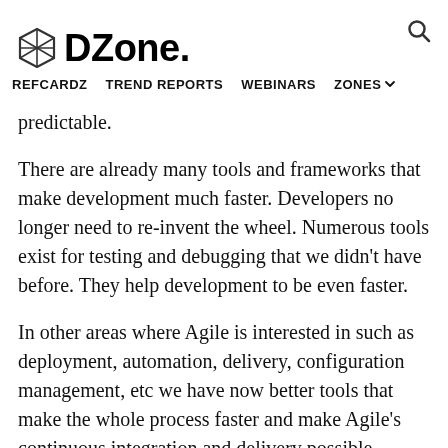DZone. REFCARDZ  TREND REPORTS  WEBINARS  ZONES
predictable.
There are already many tools and frameworks that make development much faster. Developers no longer need to re-invent the wheel. Numerous tools exist for testing and debugging that we didn't have before. They help development to be even faster.
In other areas where Agile is interested in such as deployment, automation, delivery, configuration management, etc we have now better tools that make the whole process faster and make Agile's continuous integration and delivery possible.